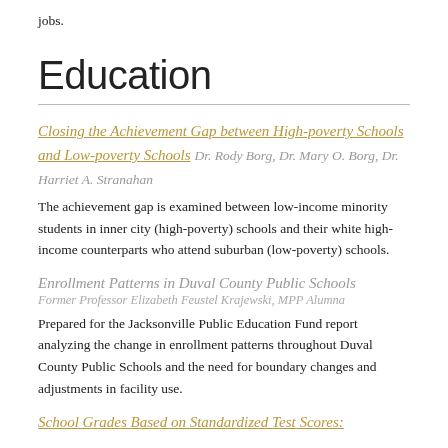jobs.
Education
Closing the Achievement Gap between High-poverty Schools and Low-poverty Schools Dr. Rody Borg, Dr. Mary O. Borg, Dr. Harriet A. Stranahan
The achievement gap is examined between low-income minority students in inner city (high-poverty) schools and their white high-income counterparts who attend suburban (low-poverty) schools.
Enrollment Patterns in Duval County Public Schools
Former Professor Elizabeth Feustel Krajewski, MPP Alumna
Prepared for the Jacksonville Public Education Fund report analyzing the change in enrollment patterns throughout Duval County Public Schools and the need for boundary changes and adjustments in facility use.
School Grades Based on Standardized Test Scores: